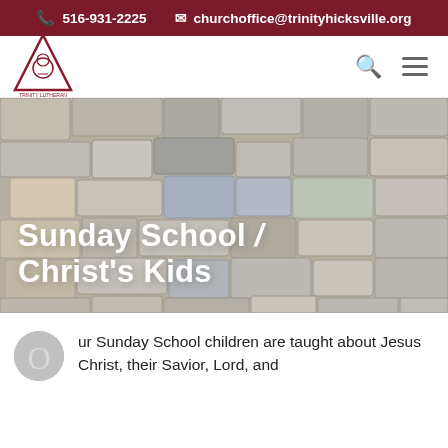516-931-2225   churchoffice@trinityhicksville.org
[Figure (logo): Trinity Lutheran Church triangular logo with knot symbol]
Sunday School / Christ's Kids
Our Sunday School children are taught about Jesus Christ, their Savior, Lord, and